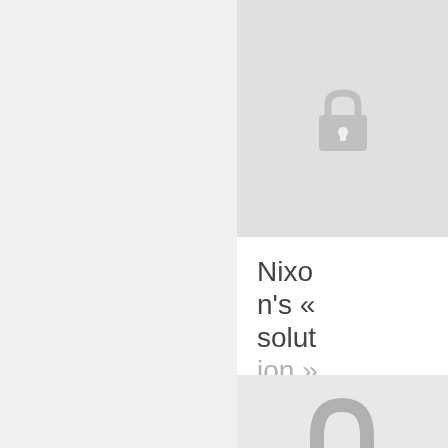[Figure (illustration): Locked padlock icon on light grey background, top right panel]
Nixon's « solution »
DATE : 1968-03-16
[Figure (illustration): Locked padlock icon on light grey background, bottom right panel (partially visible)]